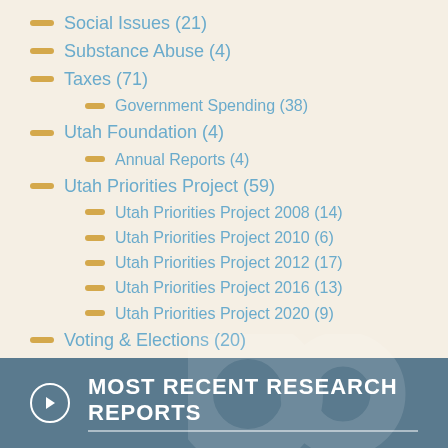Social Issues (21)
Substance Abuse (4)
Taxes (71)
Government Spending (38)
Utah Foundation (4)
Annual Reports (4)
Utah Priorities Project (59)
Utah Priorities Project 2008 (14)
Utah Priorities Project 2010 (6)
Utah Priorities Project 2012 (17)
Utah Priorities Project 2016 (13)
Utah Priorities Project 2020 (9)
Voting & Elections (20)
MOST RECENT RESEARCH REPORTS